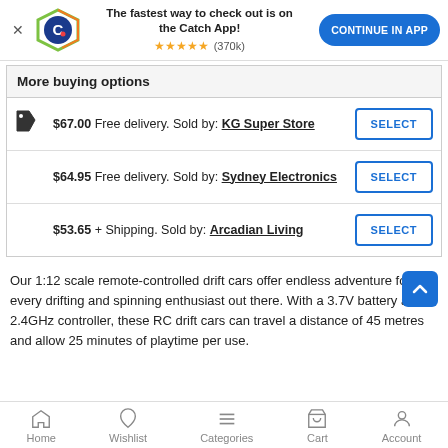[Figure (screenshot): App banner with Catch logo, text 'The fastest way to check out is on the Catch App!', 5 star rating (370k), and 'CONTINUE IN APP' button]
| More buying options |  |
| --- | --- |
| $67.00 Free delivery. Sold by: KG Super Store | SELECT |
| $64.95 Free delivery. Sold by: Sydney Electronics | SELECT |
| $53.65 + Shipping. Sold by: Arcadian Living | SELECT |
Our 1:12 scale remote-controlled drift cars offer endless adventure for every drifting and spinning enthusiast out there. With a 3.7V battery and 2.4GHz controller, these RC drift cars can travel a distance of 45 metres and allow 25 minutes of playtime per use.
Home  Wishlist  Categories  Cart  Account